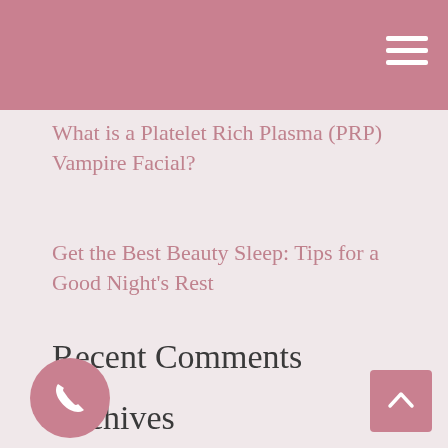What is a Platelet Rich Plasma (PRP) Vampire Facial?
Get the Best Beauty Sleep: Tips for a Good Night's Rest
Recent Comments
Archives
July 2022
June 2022
May 2022